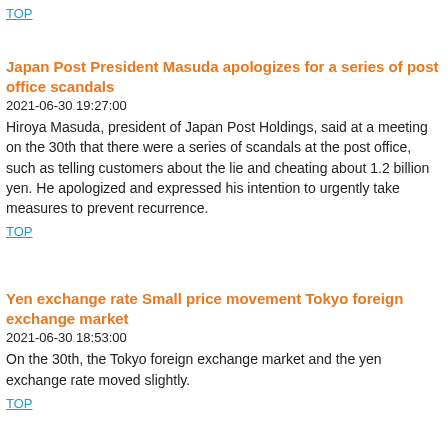TOP
Japan Post President Masuda apologizes for a series of post office scandals
2021-06-30 19:27:00
Hiroya Masuda, president of Japan Post Holdings, said at a meeting on the 30th that there were a series of scandals at the post office, such as telling customers about the lie and cheating about 1.2 billion yen. He apologized and expressed his intention to urgently take measures to prevent recurrence.
TOP
Yen exchange rate Small price movement Tokyo foreign exchange market
2021-06-30 18:53:00
On the 30th, the Tokyo foreign exchange market and the yen exchange rate moved slightly.
TOP